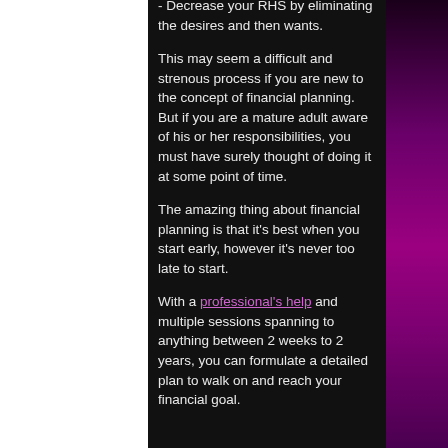- Decrease your RHS by eliminating the desires and then wants.
This may seem a difficult and strenous process if you are new to the concept of financial planning. But if you are a mature adult aware of his or her responsibilities, you must have surely thought of doing it at some point of time.
The amazing thing about financial planning is that it's best when you start early, however it's never too late to start.
With a professional's help and multiple sessions spanning to anything between 2 weeks to 2 years, you can formulate a detailed plan to walk on and reach your financial goal.